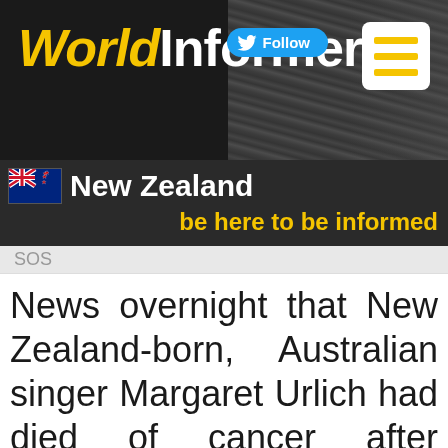[Figure (logo): WorldInformers website header banner with logo text 'WorldInformers' on dark background, Twitter Follow button, and hamburger menu icon]
🇳🇿 New Zealand
be here to be informed
SOS
News overnight that New Zealand-born, Australian singer Margaret Urlich had died of cancer after dealing with the illness privately for two years sent shockwaves among